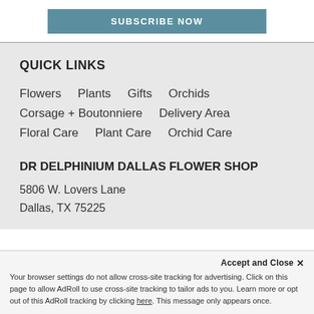[Figure (other): SUBSCRIBE NOW button in teal/steel blue color]
QUICK LINKS
Flowers    Plants    Gifts    Orchids
Corsage + Boutonniere    Delivery Area
Floral Care    Plant Care    Orchid Care
DR DELPHINIUM DALLAS FLOWER SHOP
5806 W. Lovers Lane
Dallas, TX 75225
Accept and Close ✕
Your browser settings do not allow cross-site tracking for advertising. Click on this page to allow AdRoll to use cross-site tracking to tailor ads to you. Learn more or opt out of this AdRoll tracking by clicking here. This message only appears once.